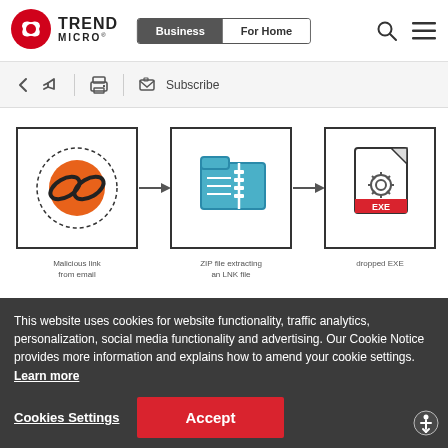[Figure (logo): Trend Micro logo - red circular icon with white butterfly/shield and text TREND MICRO]
[Figure (screenshot): Website navigation header with Business and For Home toggle buttons, search icon, and hamburger menu icon]
[Figure (screenshot): Toolbar with back arrow, share icon, print icon, and Subscribe button]
[Figure (infographic): Three-step infographic showing: 1) Malicious link from email (chain link on orange circle with dotted border) arrow to 2) ZIP file extraction from LNK file (teal folder/zip icon) arrow to 3) EXE file (document with gear icon and red EXE label). All in bracket-corner frames.]
This website uses cookies for website functionality, traffic analytics, personalization, social media functionality and advertising. Our Cookie Notice provides more information and explains how to amend your cookie settings. Learn more
Cookies Settings
Accept